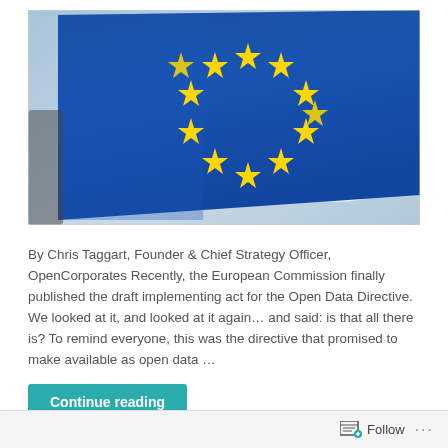[Figure (photo): Photo of the European Union flag waving against a blue sky, showing the blue background with circle of yellow stars.]
By Chris Taggart, Founder & Chief Strategy Officer, OpenCorporates Recently, the European Commission finally published the draft implementing act for the Open Data Directive. We looked at it, and looked at it again… and said: is that all there is? To remind everyone, this was the directive that promised to make available as open data …
Continue reading
Follow ···